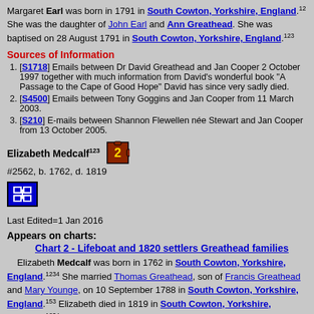Margaret Earl was born in 1791 in South Cowton, Yorkshire, England.[1,2] She was the daughter of John Earl and Ann Greathead. She was baptised on 28 August 1791 in South Cowton, Yorkshire, England.[1,2,3]
Sources of Information
[S1718] Emails between Dr David Greathead and Jan Cooper 2 October 1997 together with much information from David's wonderful book "A Passage to the Cape of Good Hope" David has since very sadly died.
[S4500] Emails between Tony Goggins and Jan Cooper from 11 March 2003.
[S210] E-mails between Shannon Flewellen née Stewart and Jan Cooper from 13 October 2005.
Elizabeth Medcalf [1,2,3]
#2562, b. 1762, d. 1819
Last Edited=1 Jan 2016
Appears on charts:
Chart 2 - Lifeboat and 1820 settlers Greathead families
Elizabeth Medcalf was born in 1762 in South Cowton, Yorkshire, England.[1,2,3,4] She married Thomas Greathead, son of Francis Greathead and Mary Younge, on 10 September 1788 in South Cowton, Yorkshire, England.[1,5,3] Elizabeth died in 1819 in South Cowton, Yorkshire, England.[1,2,3,4] Elizabeth was buried on 23 February 1819 in South Cowton.